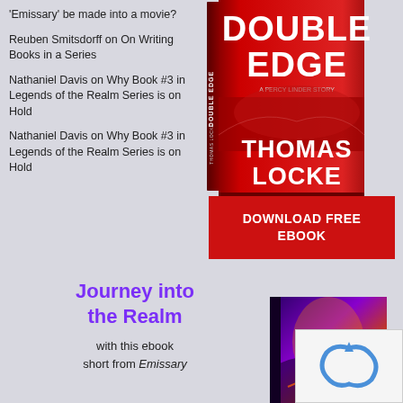'Emissary' be made into a movie?
Reuben Smitsdorff on On Writing Books in a Series
Nathaniel Davis on Why Book #3 in Legends of the Realm Series is on Hold
Nathaniel Davis on Why Book #3 in Legends of the Realm Series is on Hold
[Figure (illustration): Book cover of Double Edge by Thomas Locke, red background thriller design]
DOWNLOAD FREE EBOOK
Journey into the Realm
with this ebook short from Emissary
[Figure (illustration): Bottom portion of a fantasy book cover with colorful art]